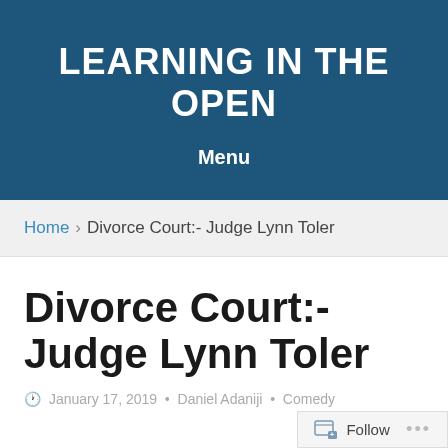LEARNING IN THE OPEN
Menu
Home > Divorce Court:- Judge Lynn Toler
Divorce Court:- Judge Lynn Toler
January 17, 2019 • Daniel Adaniji • Comedy